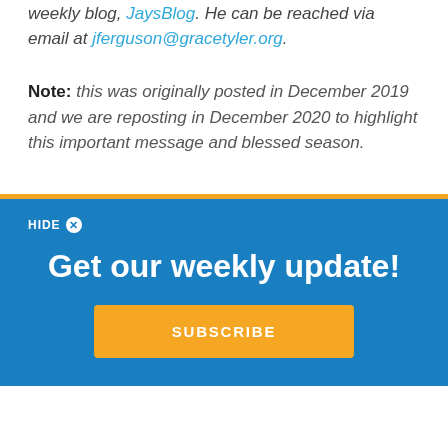weekly blog, JaysBlog. He can be reached via email at jferguson@gracetyler.org.
Note: this was originally posted in December 2019 and we are reposting in December 2020 to highlight this important message and blessed season.
HIDE ✕
Get our weekly update!
SUBSCRIBE